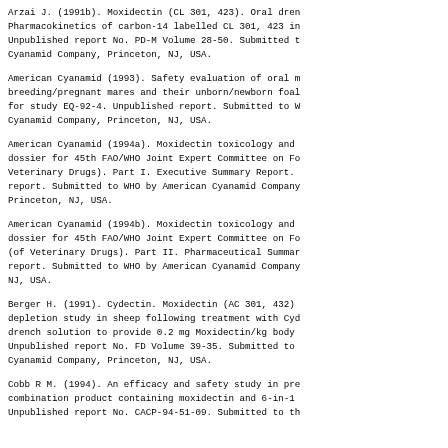Arzai J. (1991b). Moxidectin (CL 301, 423). Oral drench. Pharmacokinetics of carbon-14 labelled CL 301, 423 in. Unpublished report No. PD-M Volume 28-50. Submitted to WHO by American Cyanamid Company, Princeton, NJ, USA.
American Cyanamid (1993). Safety evaluation of oral moxidectin in breeding/pregnant mares and their unborn/newborn foals. Data package for study EQ-92-4. Unpublished report. Submitted to WHO by American Cyanamid Company, Princeton, NJ, USA.
American Cyanamid (1994a). Moxidectin toxicology and pharmacology dossier for 45th FAO/WHO Joint Expert Committee on Food Additives (of Veterinary Drugs). Part I. Executive Summary Report. Unpublished report. Submitted to WHO by American Cyanamid Company, Princeton, NJ, USA.
American Cyanamid (1994b). Moxidectin toxicology and pharmacology dossier for 45th FAO/WHO Joint Expert Committee on Food Additives (of Veterinary Drugs). Part II. Pharmaceutical Summary. Unpublished report. Submitted to WHO by American Cyanamid Company, Princeton, NJ, USA.
Berger H. (1991). Cydectin. Moxidectin (AC 301, 432). Tissue depletion study in sheep following treatment with Cydectin oral drench solution to provide 0.2 mg Moxidectin/kg body weight. Unpublished report No. FD Volume 39-35. Submitted to American Cyanamid Company, Princeton, NJ, USA.
Cobb R M. (1994). An efficacy and safety study in pre-breeding. combination product containing moxidectin and 6-in-1. Unpublished report No. CACP-94-51-09. Submitted to WHO by American Cyanamid Company.